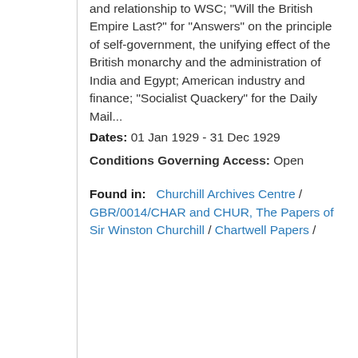and relationship to WSC; "Will the British Empire Last?" for "Answers" on the principle of self-government, the unifying effect of the British monarchy and the administration of India and Egypt; American industry and finance; "Socialist Quackery" for the Daily Mail...
Dates: 01 Jan 1929 - 31 Dec 1929
Conditions Governing Access: Open
Found in: Churchill Archives Centre / GBR/0014/CHAR and CHUR, The Papers of Sir Winston Churchill / Chartwell Papers /